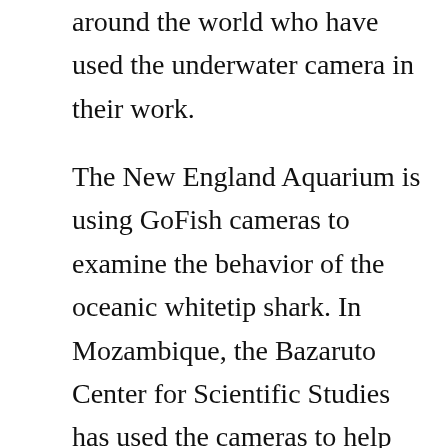around the world who have used the underwater camera in their work.
The New England Aquarium is using GoFish cameras to examine the behavior of the oceanic whitetip shark. In Mozambique, the Bazaruto Center for Scientific Studies has used the cameras to help study both the general and predatory behavior of sharks, tuna and marlin, among other types of fish. Their findings have helped them expand the protection limits of the national park. The scientists are now exploring using the GoFish Cam cameras as part of their work researching and restoring coral reefs.